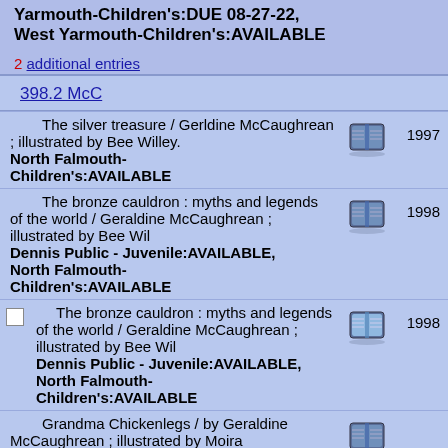Yarmouth-Children's:DUE 08-27-22, West Yarmouth-Children's:AVAILABLE
2 additional entries
398.2 McC
The silver treasure / Gerldine McCaughrean ; illustrated by Bee Willey. North Falmouth-Children's:AVAILABLE 1997
The bronze cauldron : myths and legends of the world / Geraldine McCaughrean ; illustrated by Bee Wil Dennis Public - Juvenile:AVAILABLE, North Falmouth-Children's:AVAILABLE 1998
The bronze cauldron : myths and legends of the world / Geraldine McCaughrean ; illustrated by Bee Wil Dennis Public - Juvenile:AVAILABLE, North Falmouth-Children's:AVAILABLE 1998
Grandma Chickenlegs / by Geraldine McCaughrean ; illustrated by Moira